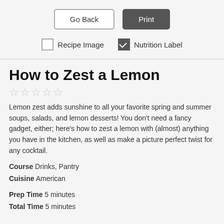[Figure (screenshot): UI controls: 'Go Back' button (outlined) and 'Print' button (dark filled)]
[Figure (screenshot): Checkbox row: unchecked 'Recipe Image' and checked 'Nutrition Label']
How to Zest a Lemon
[Figure (other): Five empty star rating icons]
Lemon zest adds sunshine to all your favorite spring and summer soups, salads, and lemon desserts! You don't need a fancy gadget, either; here's how to zest a lemon with (almost) anything you have in the kitchen, as well as make a picture perfect twist for any cocktail.
Course  Drinks, Pantry
Cuisine  American
Prep Time  5 minutes
Total Time  5 minutes